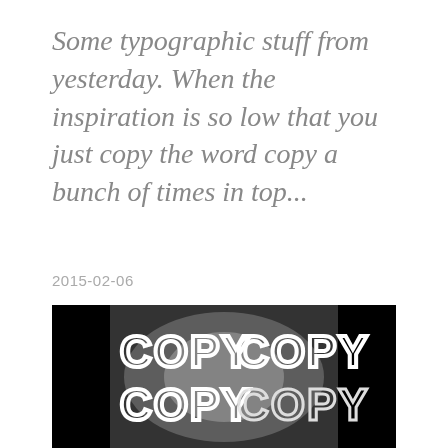Some typographic stuff from yesterday. When the inspiration is so low that you just copy the word copy a bunch of times in top...
2015-02-06
[Figure (photo): Black and white photograph showing neon light letters spelling 'COPY COPY COPY' multiple times, overlapping in a glowing white neon sign style against a dark background]